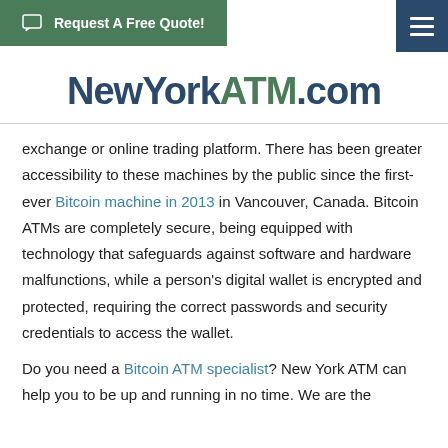Request A Free Quote!
NewYorkATM.com
exchange or online trading platform. There has been greater accessibility to these machines by the public since the first-ever Bitcoin machine in 2013 in Vancouver, Canada. Bitcoin ATMs are completely secure, being equipped with technology that safeguards against software and hardware malfunctions, while a person's digital wallet is encrypted and protected, requiring the correct passwords and security credentials to access the wallet.
Do you need a Bitcoin ATM specialist? New York ATM can help you to be up and running in no time. We are the